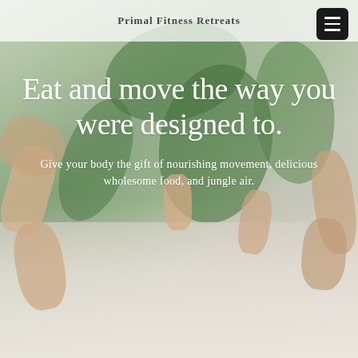[Figure (photo): Hero background photo of two people doing yoga/fitness poses (forward folds/handstands) on a light wooden floor surrounded by tropical green foliage and plants]
Primal Fitness Retreats
Eat and move the way you were designed to.
Give your body the gift of nourishing movement, delicious wholesome food, and jungle air.